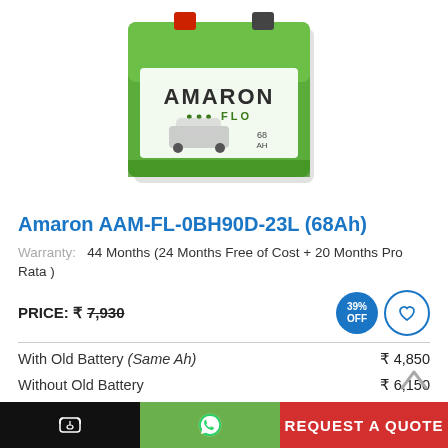[Figure (photo): Amaron AAM-FL-0BH90D-23L car battery product image, green rectangular battery with red and black terminals on top, Amaron FLO branding with a silver car visible on label]
Amaron AAM-FL-0BH90D-23L (68Ah)
Warranty: 44 Months (24 Months Free of Cost + 20 Months Pro Rata )
PRICE: ₹7,930  39% OFF
With Old Battery (Same Ah)   ₹ 4,850
Without Old Battery   ₹ 6,150
(Prices are inclusive of all taxes)
REQUEST A QUOTE